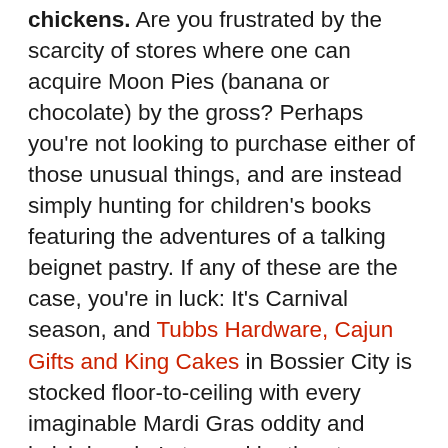chickens. Are you frustrated by the scarcity of stores where one can acquire Moon Pies (banana or chocolate) by the gross? Perhaps you're not looking to purchase either of those unusual things, and are instead simply hunting for children's books featuring the adventures of a talking beignet pastry. If any of these are the case, you're in luck: It's Carnival season, and Tubbs Hardware, Cajun Gifts and King Cakes in Bossier City is stocked floor-to-ceiling with every imaginable Mardi Gras oddity and knick-knack. I stopped by the store today, picked up my usual order of 300 chocolate Moon Pies, and snapped some photos of this year's bounty of Mardi Gras goodies.
Tubbs Hardware is located at 615 Benton Road in Bossier City. If Mardi Gras is your thing, check out the Shreveport-Bossier Convention and Tourist Bureau's newest